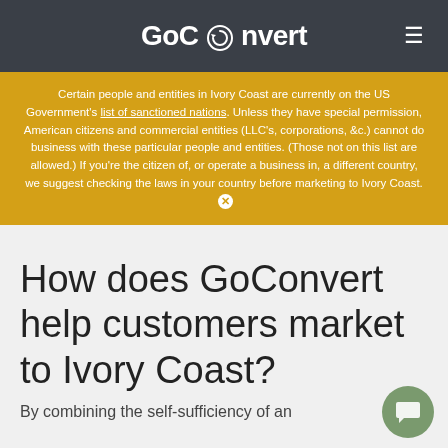GoConvert ≡
Certain people and entities in Ivory Coast are currently on the US Government's list of sanctioned nations. Unless they have special permission, American citizens and commercial entities (LLC's, corporations, &c.) cannot do business with these particular people and entities. (Those not on this list are allowed.) If you're the citizen of, or operate a business in, a different country, we suggest checking the laws in your country before marketing to Ivory Coast.
How does GoConvert help customers market to Ivory Coast?
By combining the self-sufficiency of an